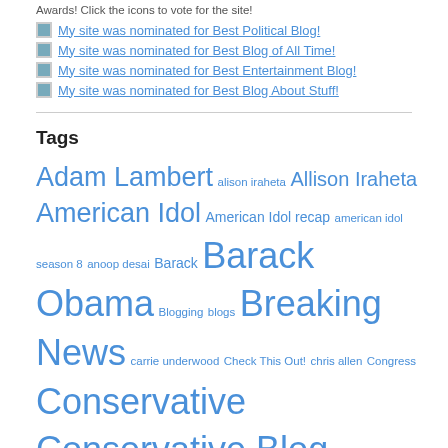Awards! Click the icons to vote for the site!
My site was nominated for Best Political Blog!
My site was nominated for Best Blog of All Time!
My site was nominated for Best Entertainment Blog!
My site was nominated for Best Blog About Stuff!
Tags
Adam Lambert alison iraheta Allison Iraheta American Idol American Idol recap american idol season 8 anoop desai Barack Barack Obama Blogging blogs Breaking News carrie underwood Check This Out! chris allen Congress Conservative Conservative Blog Conservative blogs Conservative Journal